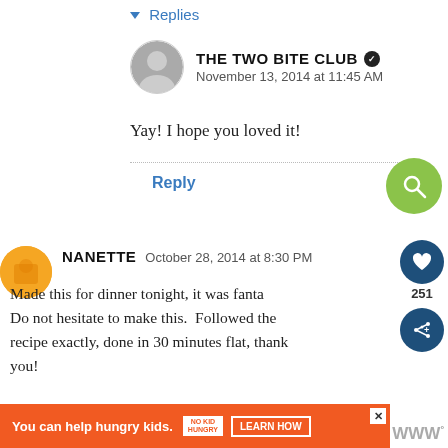▾ Replies
THE TWO BITE CLUB ✓
November 13, 2014 at 11:45 AM
Yay! I hope you loved it!
Reply
NANETTE October 28, 2014 at 8:30 PM
Made this for dinner tonight, it was fantastic! Do not hesitate to make this. Followed the recipe exactly, done in 30 minutes flat, thank you!
Reply
You can help hungry kids.
LEARN HOW